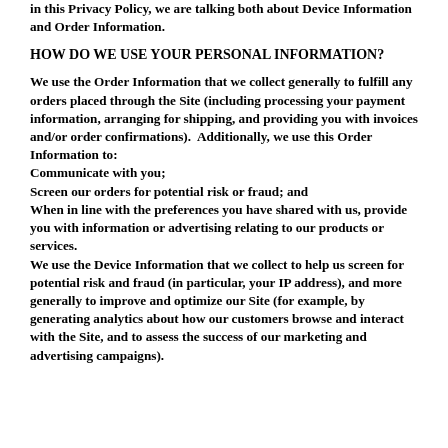in this Privacy Policy, we are talking both about Device Information and Order Information.
HOW DO WE USE YOUR PERSONAL INFORMATION?
We use the Order Information that we collect generally to fulfill any orders placed through the Site (including processing your payment information, arranging for shipping, and providing you with invoices and/or order confirmations).  Additionally, we use this Order Information to:
Communicate with you;
Screen our orders for potential risk or fraud; and
When in line with the preferences you have shared with us, provide you with information or advertising relating to our products or services.
We use the Device Information that we collect to help us screen for potential risk and fraud (in particular, your IP address), and more generally to improve and optimize our Site (for example, by generating analytics about how our customers browse and interact with the Site, and to assess the success of our marketing and advertising campaigns).